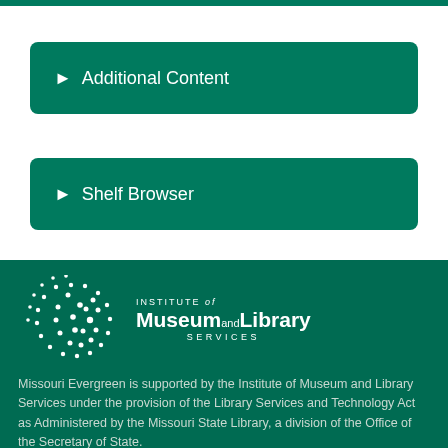► Additional Content
► Shelf Browser
► MARC Record
[Figure (logo): Institute of Museum and Library Services logo with dot-pattern graphic]
Missouri Evergreen is supported by the Institute of Museum and Library Services under the provision of the Library Services and Technology Act as Administered by the Missouri State Library, a division of the Office of the Secretary of State.